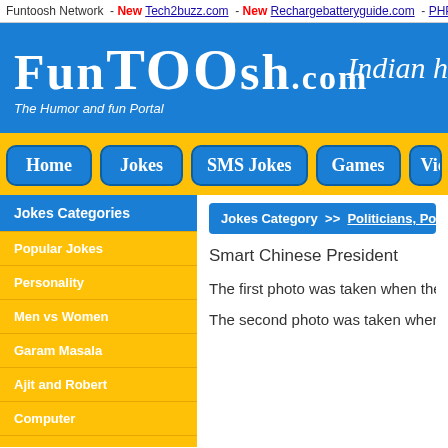Funtoosh Network - New Tech2buzz.com - New Rechargebatteryguide.com - PHPBuddy.com
[Figure (screenshot): Funtoosh.com logo on blue banner with tagline 'The Humor and fun Portal' and partial text 'Indian h']
Home  Jokes  SMS Jokes  Games  Vid
Jokes Categories
Popular Jokes
Personality
Men vs Women
Garam Masala
Ajit and Robert
Computer
Cricket Jokes
Jokes Category >> Politicians, Politics, etc
Smart Chinese President
The first photo was taken when the Chines
The second photo was taken when Bush w